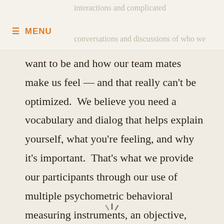interactions and complicated conversations and discussions of who we
≡ MENU
want to be and how our team mates make us feel — and that really can't be optimized.  We believe you need a vocabulary and dialog that helps explain yourself, what you're feeling, and why it's important.  That's what we provide our participants through our use of multiple psychometric behavioral measuring instruments, an objective, common language to provide clearer communication and better feedback.
[Figure (illustration): Loading spinner icon at the bottom of the page]